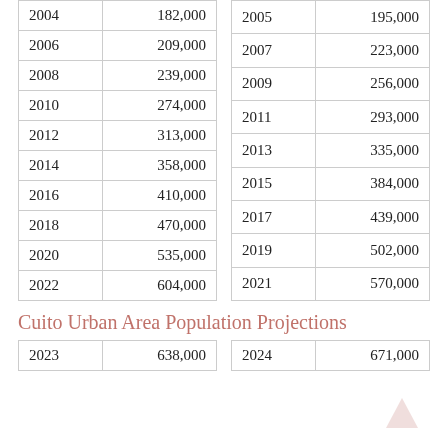| Year | Population |
| --- | --- |
| 2004 | 182,000 |
| 2006 | 209,000 |
| 2008 | 239,000 |
| 2010 | 274,000 |
| 2012 | 313,000 |
| 2014 | 358,000 |
| 2016 | 410,000 |
| 2018 | 470,000 |
| 2020 | 535,000 |
| 2022 | 604,000 |
| Year | Population |
| --- | --- |
| 2005 | 195,000 |
| 2007 | 223,000 |
| 2009 | 256,000 |
| 2011 | 293,000 |
| 2013 | 335,000 |
| 2015 | 384,000 |
| 2017 | 439,000 |
| 2019 | 502,000 |
| 2021 | 570,000 |
Cuito Urban Area Population Projections
| Year | Population |
| --- | --- |
| 2023 | 638,000 |
| Year | Population |
| --- | --- |
| 2024 | 671,000 |